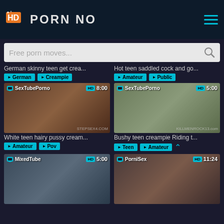HD PORN NO
Free porn moves...
German skinny teen get crea...
German  Creampie
[Figure (screenshot): Video thumbnail with SexTubePorno overlay, HD badge, 8:00 duration]
White teen hairy pussy cream...
Amateur  Pov
Hot teen saddled cock and go...
Amateur  Public
[Figure (screenshot): Video thumbnail with SexTubePorno overlay, HD badge, 5:00 duration]
Bushy teen creampie Riding t...
Teen  Amateur
[Figure (screenshot): Video thumbnail with MixedTube overlay, HD badge, 5:00 duration]
[Figure (screenshot): Video thumbnail with PorniSex overlay, HD badge, 11:24 duration]